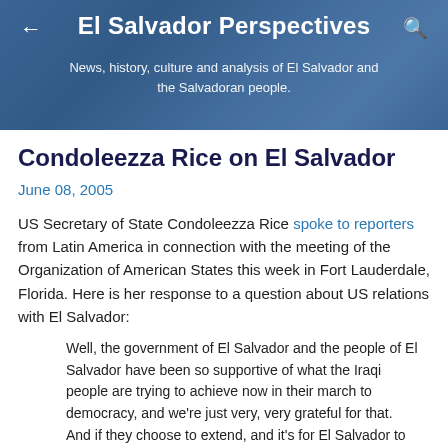El Salvador Perspectives
News, history, culture and analysis of El Salvador and the Salvadoran people.
Condoleezza Rice on El Salvador
June 08, 2005
US Secretary of State Condoleezza Rice spoke to reporters from Latin America in connection with the meeting of the Organization of American States this week in Fort Lauderdale, Florida. Here is her response to a question about US relations with El Salvador:
Well, the government of El Salvador and the people of El Salvador have been so supportive of what the Iraqi people are trying to achieve now in their march to democracy, and we're just very, very grateful for that. And if they choose to extend, and it's for El Salvador to decide -- if they choose to extend, I hope that they will because the Iraqis now have to write a constitution and then they have elections to take place at the end of the year.